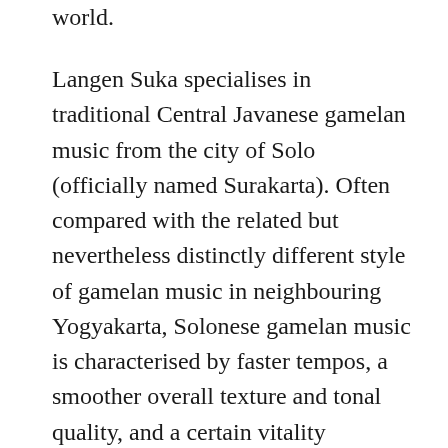world.
Langen Suka specialises in traditional Central Javanese gamelan music from the city of Solo (officially named Surakarta). Often compared with the related but nevertheless distinctly different style of gamelan music in neighbouring Yogyakarta, Solonese gamelan music is characterised by faster tempos, a smoother overall texture and tonal quality, and a certain vitality afforded by its willingness to absorb outside influences (including those from Yogyakarta!). Karawitan is the term for the classical tradition of gamelan music which encompasses a great variety of forms and performance contexts. It accompanies wayang kulit (shadow puppet theatre), dances, and the